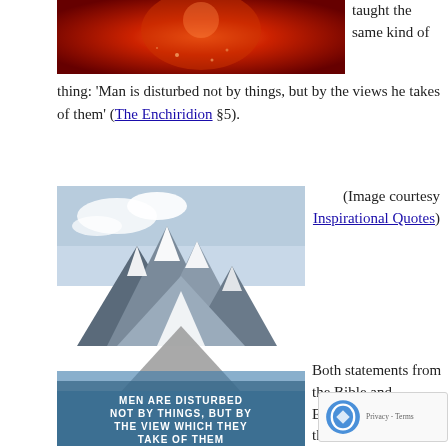[Figure (photo): Partial view of a red/dark abstract image at the top of the page]
taught the same kind of thing: 'Man is disturbed not by things, but by the views he takes of them' (The Enchiridion §5).
[Figure (photo): Mountain landscape with snow-capped peaks and text overlay reading 'MEN ARE DISTURBED NOT BY THINGS, BUT BY THE VIEW WHICH THEY TAKE OF THEM']
(Image courtesy Inspirational Quotes)
Both statements from the Bible and Epictetus agree with the fundamental assumption of short... REBT. Both sharks in the